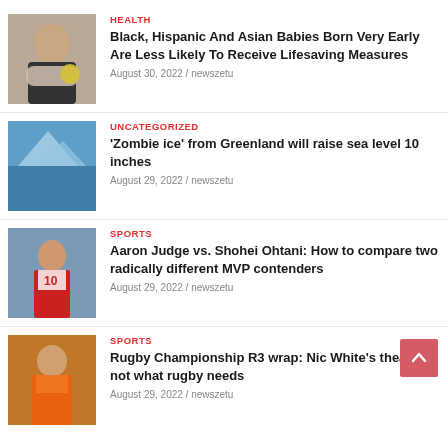[Figure (photo): Person wearing mask holding yellow item]
HEALTH
Black, Hispanic And Asian Babies Born Very Early Are Less Likely To Receive Lifesaving Measures
August 30, 2022 / newszetu
[Figure (photo): Iceberg in blue water]
UNCATEGORIZED
‘Zombie ice’ from Greenland will raise sea level 10 inches
August 29, 2022 / newszetu
[Figure (photo): Baseball player in red uniform]
SPORTS
Aaron Judge vs. Shohei Ohtani: How to compare two radically different MVP contenders
August 29, 2022 / newszetu
[Figure (photo): Rugby player in orange jersey]
SPORTS
Rugby Championship R3 wrap: Nic White’s theatrics not what rugby needs
August 29, 2022 / newszetu